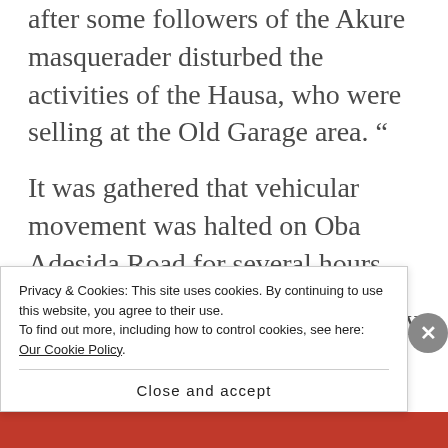after some followers of the Akure masquerader disturbed the activities of the Hausa, who were selling at the Old Garage area. “
It was gathered that vehicular movement was halted on Oba Adesida Road for several hours.
Some motorcycles were reportedly burnt, while some houses were invaded...
Privacy & Cookies: This site uses cookies. By continuing to use this website, you agree to their use.
To find out more, including how to control cookies, see here: Our Cookie Policy
Close and accept